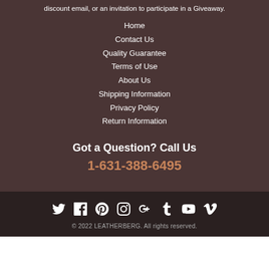discount email, or an invitation to participate in a Giveaway.
Home
Contact Us
Quality Guarantee
Terms of Use
About Us
Shipping Information
Privacy Policy
Return Information
Got a Question? Call Us
1-631-388-6495
[Figure (infographic): Row of social media icons: Twitter, Facebook, Pinterest, Instagram, Google+, Tumblr, YouTube, Vimeo]
© 2022 LEATHERBERG. All rights reserved.